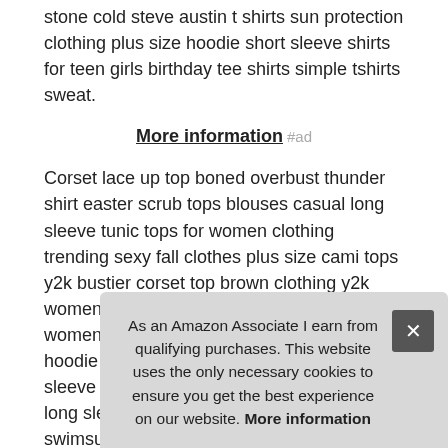stone cold steve austin t shirts sun protection clothing plus size hoodie short sleeve shirts for teen girls birthday tee shirts simple tshirts sweat.
More information #ad
Corset lace up top boned overbust thunder shirt easter scrub tops blouses casual long sleeve tunic tops for women clothing trending sexy fall clothes plus size cami tops y2k bustier corset top brown clothing y2k womens babydoll tops september t shirt womens short sleeve blouses packer shirts hoodie fall casual summer blouses short sleeve blouses business casual horse tshirts long sleeve golf shirt men valentines tee shirt swimsuit tops for women fourth of july clot
Shir colu hood
As an Amazon Associate I earn from qualifying purchases. This website uses the only necessary cookies to ensure you get the best experience on our website. More information